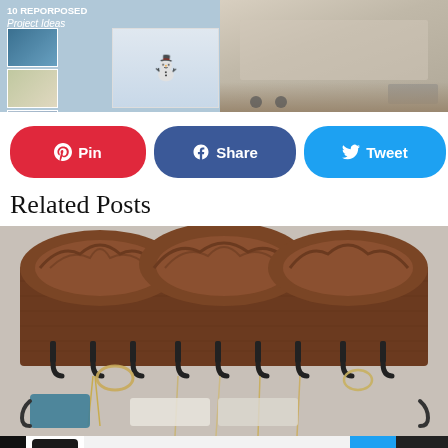[Figure (photo): Top collage with two images: left side shows '10 Reporposed Project Ideas' blog post thumbnail with small lifestyle photos, right side shows a storage/furniture item on wheels]
[Figure (infographic): Social sharing buttons: red Pinterest Pin button, blue Facebook Share button, light blue Twitter Tweet button]
Related Posts
[Figure (photo): A decorative wooden coat/jewelry rack with ornate carved top and multiple black metal hooks, with necklaces and accessories hanging from it, and a teal clutch visible below]
[Figure (other): Advertisement bar at bottom: restaurant ad showing chef logo, Dine-in and Curbside pickup text with checkmarks, blue diamond navigation icon, and close X button]